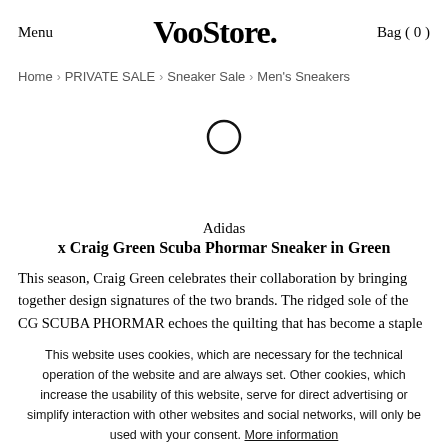Menu   VooStore.   Bag ( 0 )
Home > PRIVATE SALE > Sneaker Sale > Men's Sneakers
[Figure (other): Loading spinner circle icon]
Adidas
x Craig Green Scuba Phormar Sneaker in Green
This season, Craig Green celebrates their collaboration by bringing together design signatures of the two brands. The ridged sole of the CG SCUBA PHORMAR echoes the quilting that has become a staple of
This website uses cookies, which are necessary for the technical operation of the website and are always set. Other cookies, which increase the usability of this website, serve for direct advertising or simplify interaction with other websites and social networks, will only be used with your consent. More information
DECLINE   ACCEPT ALL   CONFIGURE